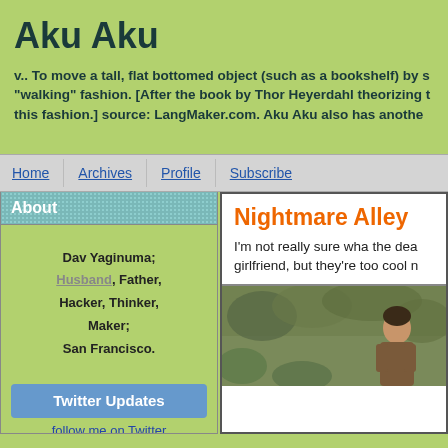Aku Aku
v.. To move a tall, flat bottomed object (such as a bookshelf) by s "walking" fashion. [After the book by Thor Heyerdahl theorizing t this fashion.] source: LangMaker.com. Aku Aku also has anothe
Home | Archives | Profile | Subscribe
About
Dav Yaginuma;
Husband, Father, Hacker, Thinker, Maker;
San Francisco.
Twitter Updates
follow me on Twitter
Nightmare Alley
I'm not really sure wha the dea girlfriend, but they're too cool n
[Figure (photo): A photo of a person outdoors with green/brown foliage background]